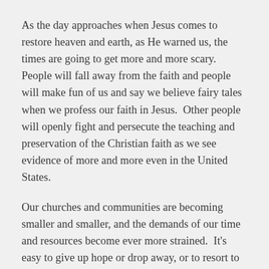As the day approaches when Jesus comes to restore heaven and earth, as He warned us, the times are going to get more and more scary.  People will fall away from the faith and people will make fun of us and say we believe fairy tales when we profess our faith in Jesus.  Other people will openly fight and persecute the teaching and preservation of the Christian faith as we see evidence of more and more even in the United States.
Our churches and communities are becoming smaller and smaller, and the demands of our time and resources become ever more strained.  It's easy to give up hope or drop away, or to resort to infighting or dissent.  Yet Jesus told His disciples to tend His lambs and feed His sheep.  For us it may mean we are called to spread out